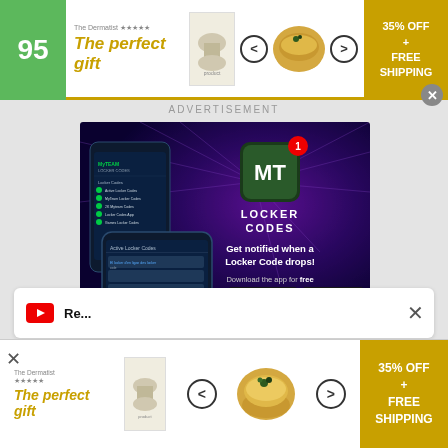[Figure (infographic): Top banner advertisement: score badge '95' in green, logo 'The Dermatist', tagline 'The perfect gift' in gold, product images, navigation arrows, food bowl image, '35% OFF + FREE SHIPPING' promo box in gold]
ADVERTISEMENT
[Figure (screenshot): MT Locker Codes app advertisement on dark purple background with laser effects. Shows smartphone screens with app interface, MT logo with shield, notification badge '1', text 'Get notified when a Locker Code drops!', 'Download the app for free', App Store and Google Play buttons]
[Figure (infographic): Bottom partial card with YouTube icon and text partially visible at bottom of main content area, with X close button]
[Figure (infographic): Bottom banner advertisement: logo 'The Dermatist', tagline 'The perfect gift' in gold, product image placeholder, navigation arrows, food bowl image, '35% OFF + FREE SHIPPING' promo box in gold, X close button at left]